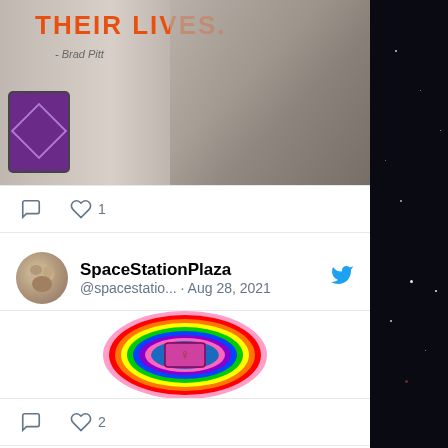[Figure (screenshot): Partial tweet showing orange bold text 'THEIR LIVES.' with attribution 'Brad Pitt', black and white photo background, purple jar with triangle symbol]
[Figure (infographic): Social media action bar with comment icon and heart icon with count 1]
[Figure (screenshot): Tweet by SpaceStationPlaza (@spacestatio...) dated Aug 28, 2021 showing a circular Earth image surrounded by rainbow rings with a pink/purple symbol in center]
[Figure (infographic): Social media action bar with comment icon and heart icon with count 2]